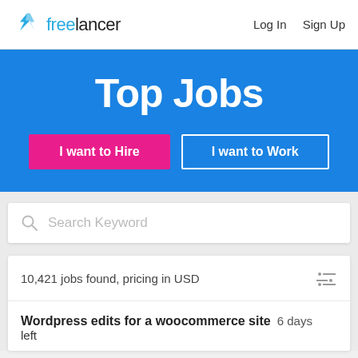freelancer  Log In  Sign Up
Top Jobs
I want to Hire
I want to Work
Search Keyword
10,421 jobs found, pricing in USD
Wordpress edits for a woocommerce site  6 days left